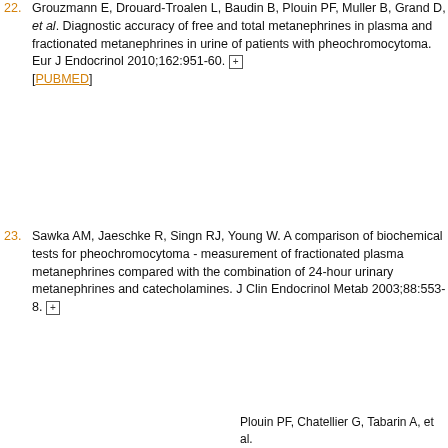22. Grouzmann E, Drouard-Troalen L, Baudin B, Plouin PF, Muller B, Grand D, et al. Diagnostic accuracy of free and total metanephrines in plasma and fractionated metanephrines in urine of patients with pheochromocytoma. Eur J Endocrinol 2010;162:951-60. [PUBMED]
23. Sawka AM, Jaeschke R, Singn RJ, Young W. A comparison of biochemical tests for pheochromocytoma - measurement of fractionated plasma metanephrines compared with the combination of 24-hour urinary metanephrines and catecholamines. J Clin Endocrinol Metab 2003;88:553-8.
This website uses cookies. By continuing to use this website you are giving consent to cookies being used. For information on cookies and how you can disable them visit our Privacy and Cookie Policy.